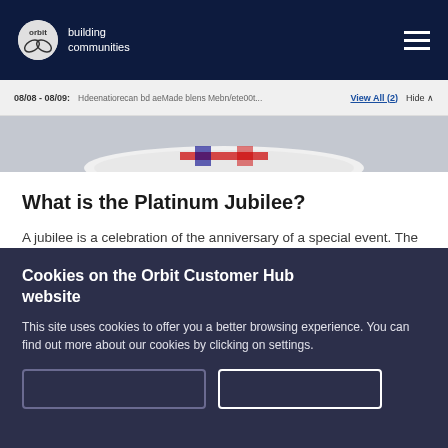orbit | building communities
08/08 - 08/09: Hdeenatiorecan bd aeMade blens Mebn/ete00t... View All (2) Hide
[Figure (photo): Partial view of a decorative plate with red, white and blue design elements on a grey background]
What is the Platinum Jubilee?
A jubilee is a celebration of the anniversary of a special event. The term is mostly associated with the Royal Family, where significant periods in the life and reign of a monarch are celebrated. This year we celebrate the Queen's 70th
Cookies on the Orbit Customer Hub website
This site uses cookies to offer you a better browsing experience. You can find out more about our cookies by clicking on settings.